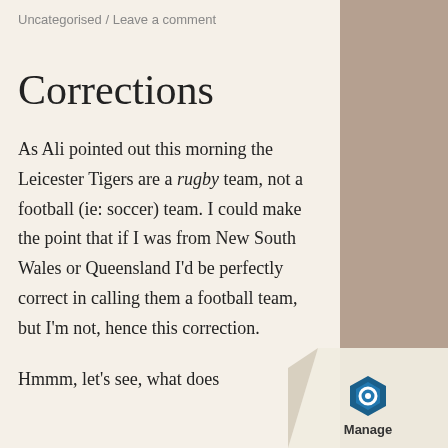Uncategorised / Leave a comment
Corrections
As Ali pointed out this morning the Leicester Tigers are a rugby team, not a football (ie: soccer) team. I could make the point that if I was from New South Wales or Queensland I'd be perfectly correct in calling them a football team, but I'm not, hence this correction.
Hmmm, let's see, what does
[Figure (logo): Manage logo badge with blue hexagon icon and 'Manage' text on a curled paper corner in bottom right]